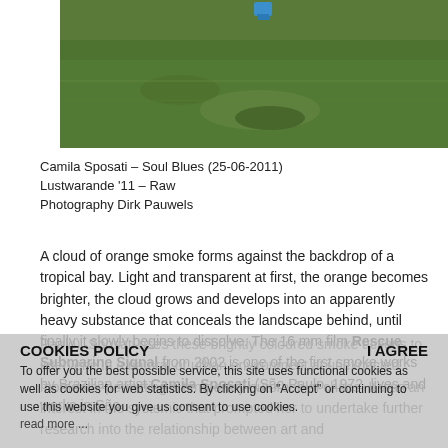[Figure (photo): Photograph of a grass field with a small blue object visible in the upper portion, taken outdoors.]
Camila Sposati – Soul Blues (25-06-2011)
Lustwarande '11 – Raw
Photography Dirk Pauwels
A cloud of orange smoke forms against the backdrop of a tropical bay. Light and transparent at first, the orange becomes brighter, the cloud grows and develops into an apparently heavy substance that conceals the landscape behind, until finally it slowly begins to dissolve. The 16 mm film Rescue Submarine Signal from 2002 is one of the first smoke works by Brazilian artist Camila Sposati (São Paulo, 1972, lives and works in São Paulo). Sposati uses these brightly coloured smoke actions to intervene in a natural or urban environment at unexpected moments, permitting a temporary outbreak of chaos. It was an interest in the systemic that prompted her to undertake further research into the relationship between art and
COOKIES POLICY
To offer you the best possible service, this site uses functional cookies as well as cookies for web statistics. By clicking on "Accept" or continuing to use this website you give us consent to use cookies.
read more ...
I AGREE